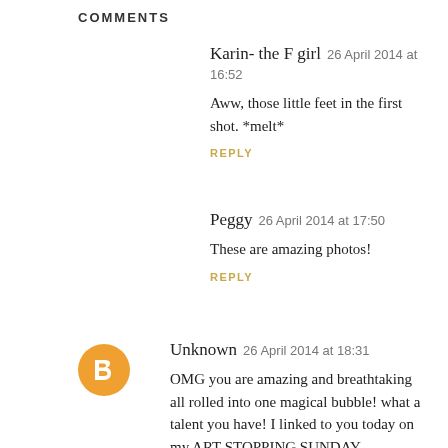COMMENTS
Karin- the F girl  26 April 2014 at 16:52
Aww, those little feet in the first shot. *melt*
REPLY
Peggy  26 April 2014 at 17:50
These are amazing photos!
REPLY
Unknown  26 April 2014 at 18:31
OMG you are amazing and breathtaking all rolled into one magical bubble! what a talent you have! I linked to you today on my ART STOPPING SUNDAY POST.....yes i know a whole day in front of myself but i blame the Easter holidays, 3 kids have frazzled my brain to the point i don't know what day it even is! keep doing what you do and thank you for the magic! oh also linked to you in my 52 post as well so there is a double whammy of love over at the